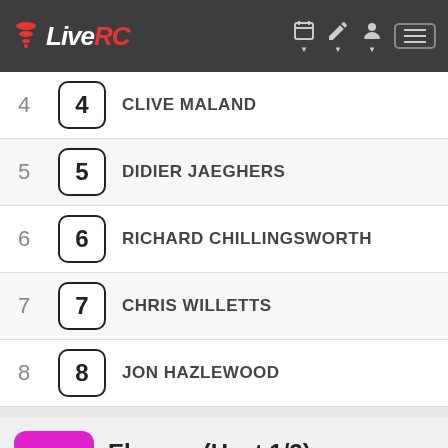LiveRC
4  4  CLIVE MALAND
5  5  DIDIER JAEGHERS
6  6  RICHARD CHILLINGSWORTH
7  7  CHRIS WILLETTS
8  8  JON HAZLEWOOD
2  Ebuggy (Heat 1/2)  Length: 5:00 Timed  Status: Complete (View Results)
| Pos | Car # / Driver | Seed # | Seed Result |
| --- | --- | --- | --- |
| 1 | 1  JAMES HEESOM |  |  |
1  1  JAMES HEESOM